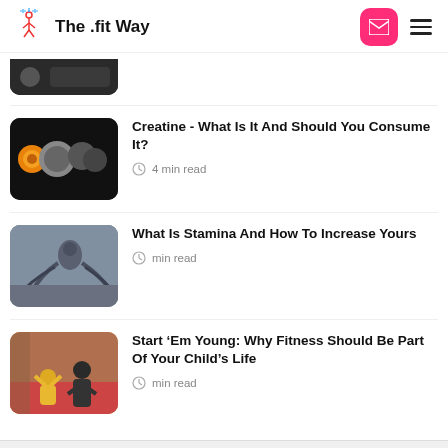The .fit Way
[Figure (illustration): Partial thumbnail of an article at the top, dark colored image showing a device]
Creatine - What Is It And Should You Consume It?
4 min read
[Figure (photo): Man doing battle ropes workout in a gym]
What Is Stamina And How To Increase Yours
min read
[Figure (photo): Mother and child doing yoga/stretching together]
Start ‘Em Young: Why Fitness Should Be Part Of Your Child’s Life
min read